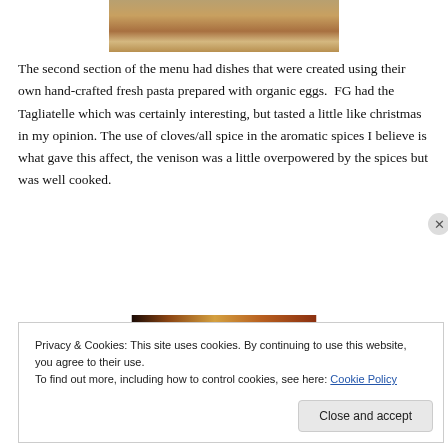[Figure (photo): Top portion of a food photo showing a dish on a white plate, partially cropped at top]
The second section of the menu had dishes that were created using their own hand-crafted fresh pasta prepared with organic eggs.  FG had the Tagliatelle which was certainly interesting, but tasted a little like christmas in my opinion. The use of cloves/all spice in the aromatic spices I believe is what gave this affect, the venison was a little overpowered by the spices but was well cooked.
[Figure (photo): Bottom portion of another food photo, partially visible behind cookie banner]
Privacy & Cookies: This site uses cookies. By continuing to use this website, you agree to their use.
To find out more, including how to control cookies, see here: Cookie Policy
Close and accept